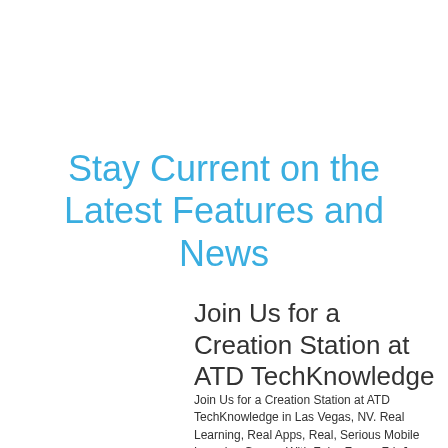Stay Current on the Latest Features and News
Join Us for a Creation Station at ATD TechKnowledge
Join Us for a Creation Station at ATD TechKnowledge in Las Vegas, NV. Real Learning, Real Apps, Real, Serious Mobile Learning Games With ZebraZapps Fri, Jan 16 | 8:00 AM - 9:15 AM | Neopolitan IV Don't